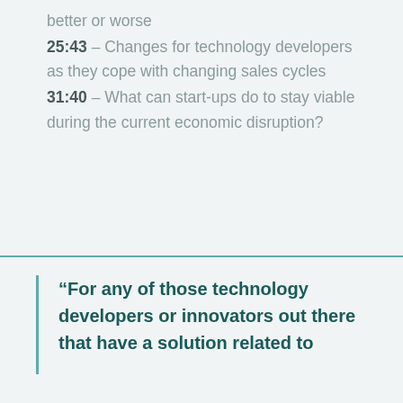better or worse
25:43 – Changes for technology developers as they cope with changing sales cycles
31:40 – What can start-ups do to stay viable during the current economic disruption?
“For any of those technology developers or innovators out there that have a solution related to